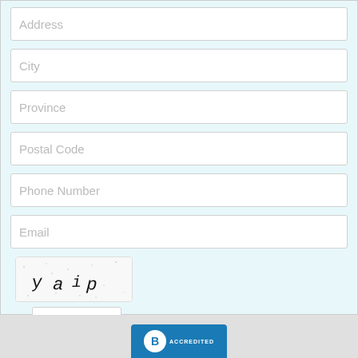Address
City
Province
Postal Code
Phone Number
Email
[Figure (other): CAPTCHA image showing text 'y a i p' in distorted monospace font with dot noise]
Submit
[Figure (logo): BBB Accredited Business badge, blue background with white BBB logo and ACCREDITED text]